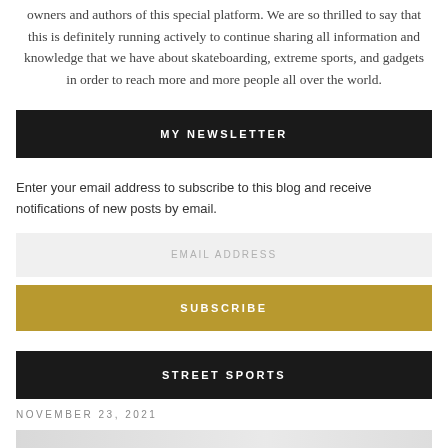owners and authors of this special platform. We are so thrilled to say that this is definitely running actively to continue sharing all information and knowledge that we have about skateboarding, extreme sports, and gadgets in order to reach more and more people all over the world.
MY NEWSLETTER
Enter your email address to subscribe to this blog and receive notifications of new posts by email.
EMAIL ADDRESS
SUBSCRIBE
STREET SPORTS
NOVEMBER 23, 2021